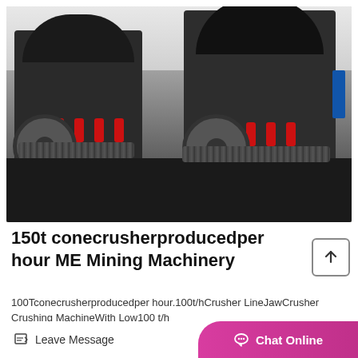[Figure (photo): Two large industrial cone crushers (mining machinery) in a factory or outdoor setting. The machines are dark/black with red hydraulic cylinder details, large circular top sections, and heavy metal wheel drives on the sides. Floor is light grey concrete.]
150t conecrusherproducedper hour ME Mining Machinery
100Tconecrusherproducedper hour.100t/hCrusher LineJawCrusher Crushing MachineWith Low100 t/h
Leave Message
Chat Online